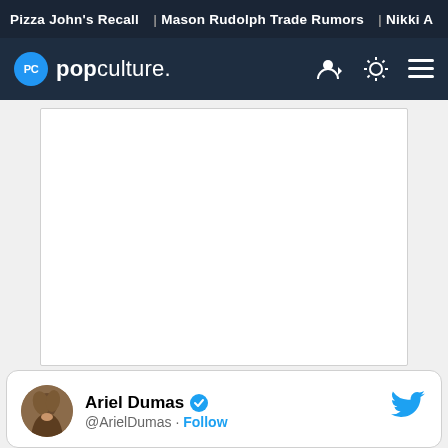Pizza John's Recall | Mason Rudolph Trade Rumors | Nikki A
[Figure (logo): PopCulture.com logo with navigation bar on dark navy background]
[Figure (other): White content area placeholder]
[Figure (other): Tweet card showing Ariel Dumas with verified checkmark and Twitter bird icon, handle @ArielDumas with Follow link]